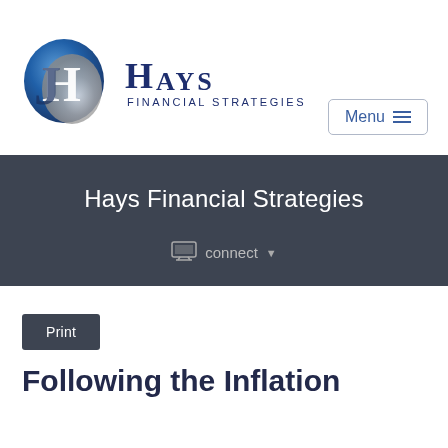[Figure (logo): Hays Financial Strategies logo — circular JH monogram in blue and grey gradient on the left, with 'HAYS FINANCIAL STRATEGIES' text in dark blue on the right]
[Figure (other): Menu button with hamburger icon (three horizontal lines) and 'Menu' text, inside a light grey border rectangle]
Hays Financial Strategies
connect ▾
Print
Following the Inflation